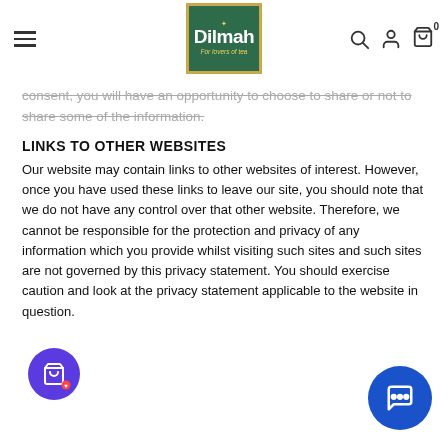Dilmah — For lovers of tea
consent, you will have an opportunity to choose to share or not to share some of the information.
LINKS TO OTHER WEBSITES
Our website may contain links to other websites of interest. However, once you have used these links to leave our site, you should note that we do not have any control over that other website. Therefore, we cannot be responsible for the protection and privacy of any information which you provide whilst visiting such sites and such sites are not governed by this privacy statement. You should exercise caution and look at the privacy statement applicable to the website in question.